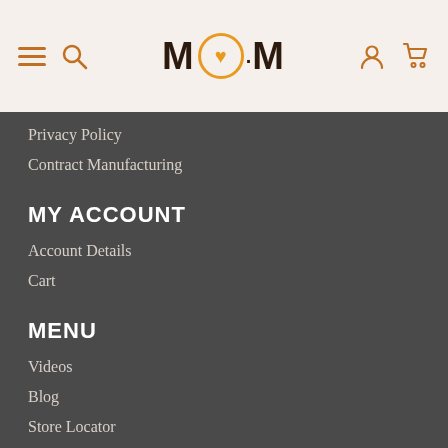[Figure (logo): MOM brand logo with orange circle containing a heart as the letter O, on a beige/cream header background with hamburger menu, search, user, and cart icons]
Privacy Policy
Contract Manufacturing
MY ACCOUNT
Account Details
Cart
MENU
Videos
Blog
Store Locator